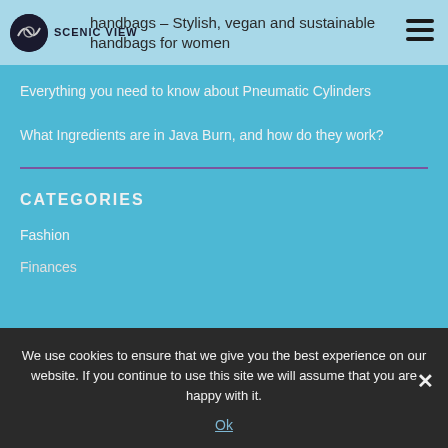SCENIC VIEW – handbags – Stylish, vegan and sustainable handbags for women
Everything you need to know about Pneumatic Cylinders
What Ingredients are in Java Burn, and how do they work?
CATEGORIES
Fashion
Finances
We use cookies to ensure that we give you the best experience on our website. If you continue to use this site we will assume that you are happy with it.
Ok